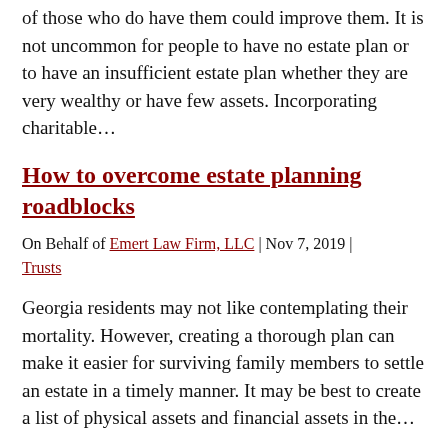of those who do have them could improve them. It is not uncommon for people to have no estate plan or to have an insufficient estate plan whether they are very wealthy or have few assets. Incorporating charitable…
How to overcome estate planning roadblocks
On Behalf of Emert Law Firm, LLC | Nov 7, 2019 | Trusts
Georgia residents may not like contemplating their mortality. However, creating a thorough plan can make it easier for surviving family members to settle an estate in a timely manner. It may be best to create a list of physical assets and financial assets in the…